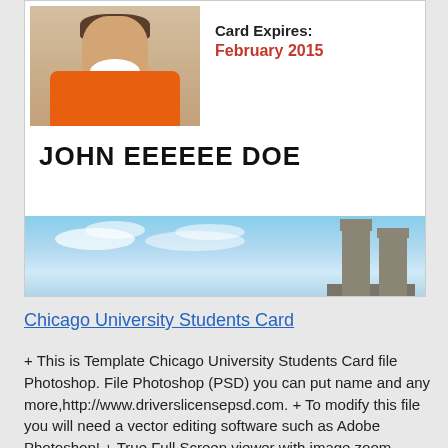[Figure (photo): Chicago University Student ID card showing a young person's photo in orange shirt, card expiry 'February 2015', name 'JOHN EEEEEE DOE', and a sky/cathedral banner at the bottom]
Chicago University Students Card
+ This is Template Chicago University Students Card file Photoshop. File Photoshop (PSD) you can put name and any more,http://www.driverslicensepsd.com. + To modify this file you will need a vector editing software such as Adobe Photoshop! + True Full Screen viewer with image zoom support (click image demo).Download